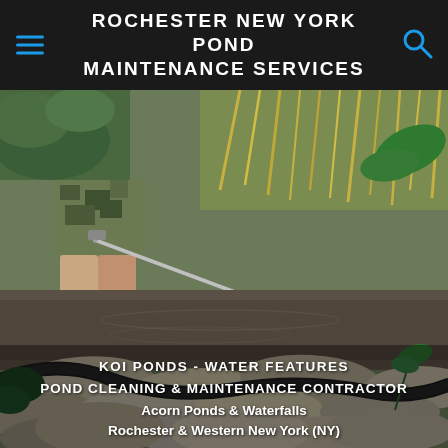ROCHESTER NEW YORK POND MAINTENANCE SERVICES
[Figure (photo): Person in camouflage shorts and rubber boots using a pressure washer wand to clean a rocky koi pond with muddy water, rocks, and aquatic plants visible]
KOI PONDS - WATER FEATURES
POND CLEANING & MAINTENANCE CONTRACTOR
Acorn Ponds & Waterfalls
Rochester & Western New York (NY)